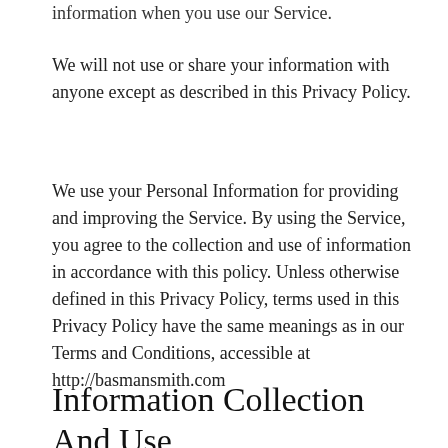information when you use our Service.
We will not use or share your information with anyone except as described in this Privacy Policy.
We use your Personal Information for providing and improving the Service. By using the Service, you agree to the collection and use of information in accordance with this policy. Unless otherwise defined in this Privacy Policy, terms used in this Privacy Policy have the same meanings as in our Terms and Conditions, accessible at http://basmansmith.com
Information Collection And Use